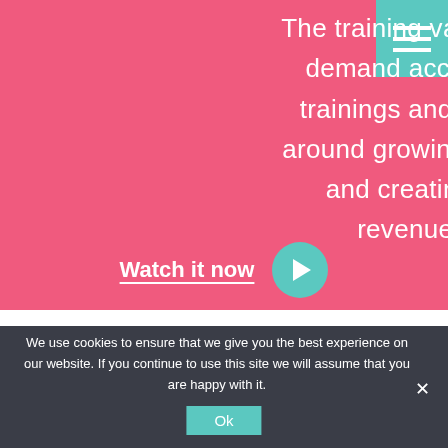[Figure (screenshot): Teal hamburger menu icon in top right corner on teal background]
The training vault contains on-demand access to several trainings and presentations around growing your business and creating additional revenue streams.
Watch it now
We use cookies to ensure that we give you the best experience on our website. If you continue to use this site we will assume that you are happy with it.
Ok